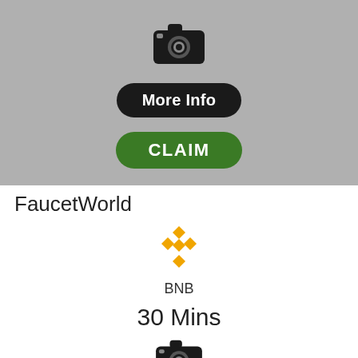[Figure (illustration): Camera icon in black on grey background]
More Info
CLAIM
FaucetWorld
[Figure (logo): BNB (Binance) logo in orange/gold diamond shape]
BNB
30 Mins
[Figure (illustration): Camera icon in black on white background]
[Figure (illustration): Partial green CLAIM button at bottom]